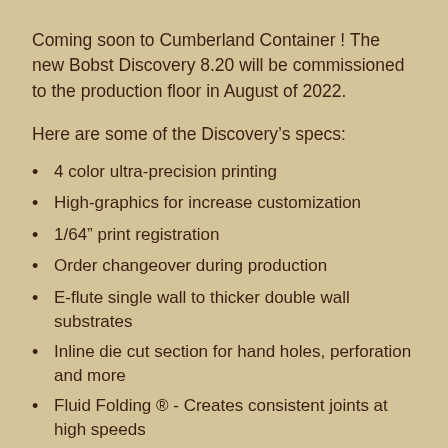Coming soon to Cumberland Container ! The new Bobst Discovery 8.20 will be commissioned to the production floor in August of 2022.
Here are some of the Discovery's specs:
4 color ultra-precision printing
High-graphics for increase customization
1/64” print registration
Order changeover during production
E-flute single wall to thicker double wall substrates
Inline die cut section for hand holes, perforation and more
Fluid Folding ® - Creates consistent joints at high speeds